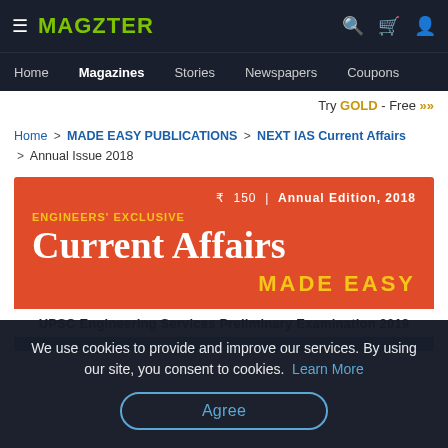MAGZTER — Home | Magazines | Stories | Newspapers | Coupons
Try GOLD - Free >>
Home > MADE EASY PUBLICATIONS > NEXT IAS Current Affairs > Annual Issue 2018
[Figure (other): Magazine cover for 'Current Affairs Made Easy' by Engineers' Exclusive. Red background with title 'Current Affairs' in white serif font, 'MADE EASY' in yellow, price ₹ 150, Annual Edition 2018. White band below reads 'UPSC Engineering Services Preliminary Examination 2019', followed by a blue band.]
We use cookies to provide and improve our services. By using our site, you consent to cookies. Learn More
Agree